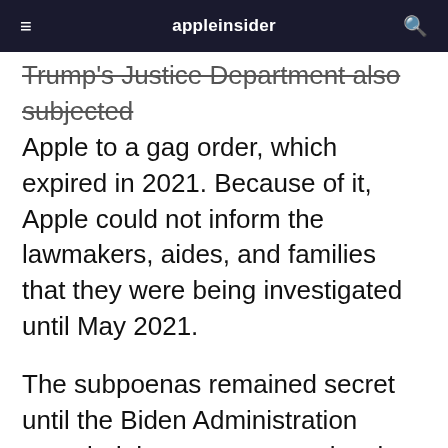appleinsider
Trump's Justice Department also subjected Apple to a gag order, which expired in 2021. Because of it, Apple could not inform the lawmakers, aides, and families that they were being investigated until May 2021.
The subpoenas remained secret until the Biden Administration revealed them to press outlets in recent weeks.
According to The New York Times, the Justice Department was seeking the sources behind media reports that certain Trump associates were in contact with Russia. Under Sessions, the department also secured subpoenas for records